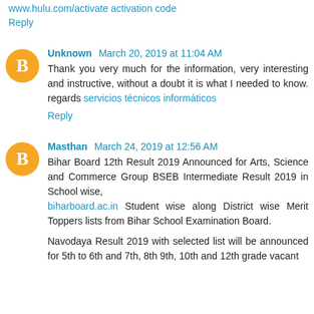www.hulu.com/activate activation code
Reply
Unknown March 20, 2019 at 11:04 AM
Thank you very much for the information, very interesting and instructive, without a doubt it is what I needed to know. regards servicios técnicos informáticos
Reply
Masthan March 24, 2019 at 12:56 AM
Bihar Board 12th Result 2019 Announced for Arts, Science and Commerce Group BSEB Intermediate Result 2019 in School wise, biharboard.ac.in Student wise along District wise Merit Toppers lists from Bihar School Examination Board.
Navodaya Result 2019 with selected list will be announced for 5th to 6th and 7th, 8th 9th, 10th and 12th grade vacant